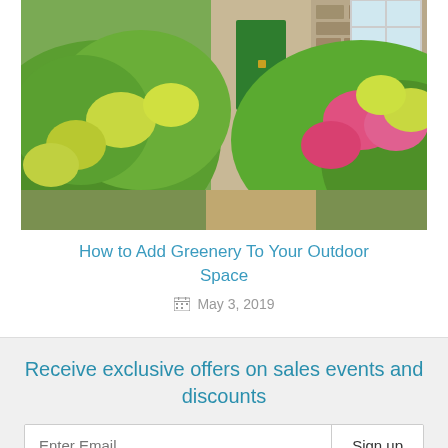[Figure (photo): Garden photo showing green and pink hydrangea flowers along a stone cottage path with sunlight]
How to Add Greenery To Your Outdoor Space
May 3, 2019
Receive exclusive offers on sales events and discounts
Enter Email  Sign up
Follow Us